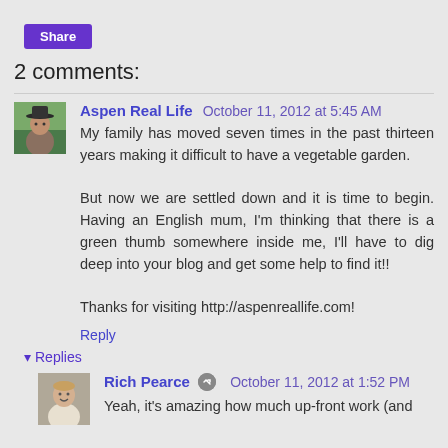Share
2 comments:
Aspen Real Life  October 11, 2012 at 5:45 AM
My family has moved seven times in the past thirteen years making it difficult to have a vegetable garden.

But now we are settled down and it is time to begin. Having an English mum, I'm thinking that there is a green thumb somewhere inside me, I'll have to dig deep into your blog and get some help to find it!!

Thanks for visiting http://aspenreallife.com!
Reply
Replies
Rich Pearce  October 11, 2012 at 1:52 PM
Yeah, it's amazing how much up-front work (and